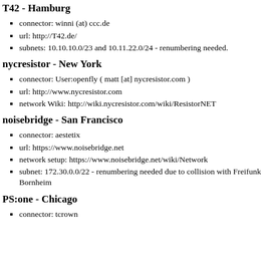T42 - Hamburg
connector: winni (at) ccc.de
url: http://T42.de/
subnets: 10.10.10.0/23 and 10.11.22.0/24 - renumbering needed.
nycresistor - New York
connector: User:openfly ( matt [at] nycresistor.com )
url: http://www.nycresistor.com
network Wiki: http://wiki.nycresistor.com/wiki/ResistorNET
noisebridge - San Francisco
connector: aestetix
url: https://www.noisebridge.net
network setup: https://www.noisebridge.net/wiki/Network
subnet: 172.30.0.0/22 - renumbering needed due to collision with Freifunk Bornheim
PS:one - Chicago
connector: tcrown